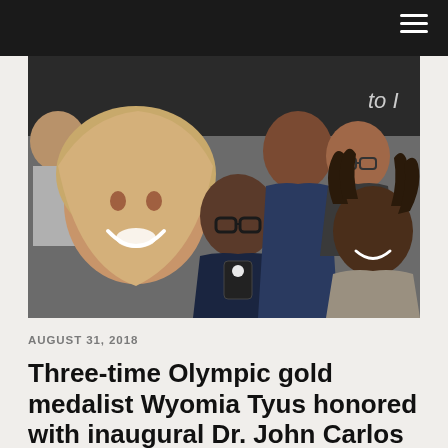[Figure (photo): Group selfie photo of several people smiling at the camera, including a woman in a tan hijab in the foreground, a shorter woman with large glasses holding a phone, a tall woman in a blue outfit, a man with glasses and short hair, and a man with dreadlocks on the right. Partial text 'to I' visible on upper right background.]
AUGUST 31, 2018
Three-time Olympic gold medalist Wyomia Tyus honored with inaugural Dr. John Carlos Legacy Award